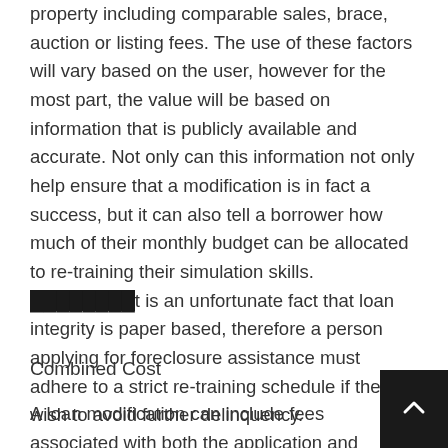property including comparable sales, brace, auction or listing fees. The use of these factors will vary based on the user, however for the most part, the value will be based on information that is publicly available and accurate. Not only can this information not only help ensure that a modification is in fact a success, but it can also tell a borrower how much of their monthly budget can be allocated to re-training their simulation skills. [REDACTED]t is an unfortunate fact that loan integrity is paper based, therefore a person applying for foreclosure assistance must adhere to a strict re-training schedule if they wish to avoid further delinquency.
Combined Cost
A loan modification can include fees associated with both the application and negotiation of the